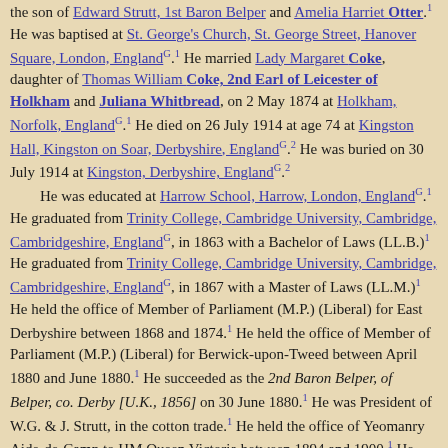the son of Edward Strutt, 1st Baron Belper and Amelia Harriet Otter.1 He was baptised at St. George's Church, St. George Street, Hanover Square, London, EnglandG.1 He married Lady Margaret Coke, daughter of Thomas William Coke, 2nd Earl of Leicester of Holkham and Juliana Whitbread, on 2 May 1874 at Holkham, Norfolk, EnglandG.1 He died on 26 July 1914 at age 74 at Kingston Hall, Kingston on Soar, Derbyshire, EnglandG.2 He was buried on 30 July 1914 at Kingston, Derbyshire, EnglandG.2 He was educated at Harrow School, Harrow, London, EnglandG.1 He graduated from Trinity College, Cambridge University, Cambridge, Cambridgeshire, EnglandG, in 1863 with a Bachelor of Laws (LL.B.)1 He graduated from Trinity College, Cambridge University, Cambridge, Cambridgeshire, EnglandG, in 1867 with a Master of Laws (LL.M.)1 He held the office of Member of Parliament (M.P.) (Liberal) for East Derbyshire between 1868 and 1874.1 He held the office of Member of Parliament (M.P.) (Liberal) for Berwick-upon-Tweed between April 1880 and June 1880.1 He succeeded as the 2nd Baron Belper, of Belper, co. Derby [U.K., 1856] on 30 June 1880.1 He was President of W.G. & J. Strutt, in the cotton trade.1 He held the office of Yeomanry Aide-de-Camp to HM Queen Victoria between 1894 and 1900.1 He held the office of Captain of the Gentlemen at Arms between 1895 and 1906.1 He was appointed Privy Counsellor (P.C.) on 16 July